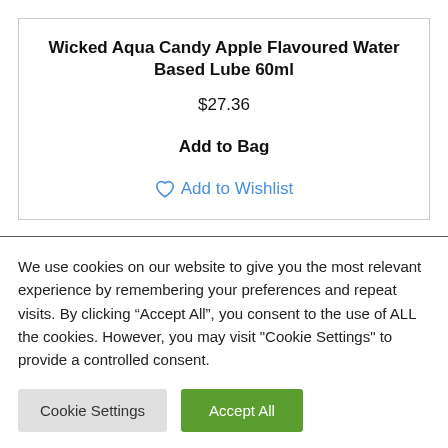Wicked Aqua Candy Apple Flavoured Water Based Lube 60ml
$27.36
Add to Bag
Add to Wishlist
We use cookies on our website to give you the most relevant experience by remembering your preferences and repeat visits. By clicking “Accept All”, you consent to the use of ALL the cookies. However, you may visit "Cookie Settings" to provide a controlled consent.
Cookie Settings
Accept All